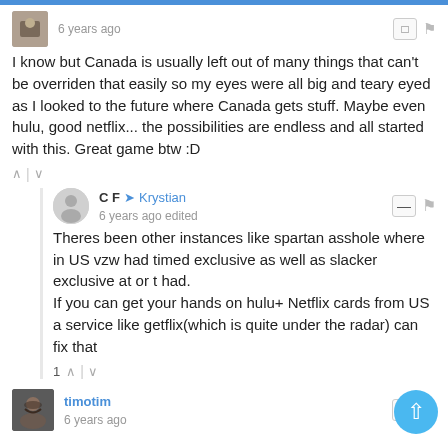6 years ago
I know but Canada is usually left out of many things that can't be overriden that easily so my eyes were all big and teary eyed as I looked to the future where Canada gets stuff. Maybe even hulu, good netflix... the possibilities are endless and all started with this. Great game btw :D
C F → Krystian
6 years ago edited
Theres been other instances like spartan asshole where in US vzw had timed exclusive as well as slacker exclusive at or t had.
If you can get your hands on hulu+ Netflix cards from US a service like getflix(which is quite under the radar) can fix that
1
timotim
6 years ago